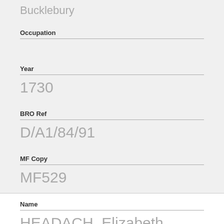Bucklebury
Occupation
Year
1730
BRO Ref
D/A1/84/91
MF Copy
MF529
Name
HEADACH, Elizabeth
Place Name
Yattendon
Occupation